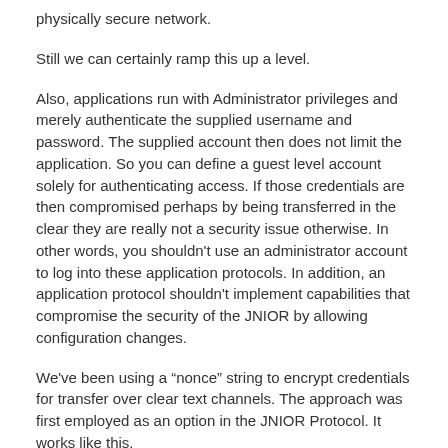physically secure network.
Still we can certainly ramp this up a level.
Also, applications run with Administrator privileges and merely authenticate the supplied username and password. The supplied account then does not limit the application. So you can define a guest level account solely for authenticating access. If those credentials are then compromised perhaps by being transferred in the clear they are really not a security issue otherwise. In other words, you shouldn't use an administrator account to log into these application protocols. In addition, an application protocol shouldn't implement capabilities that compromise the security of the JNIOR by allowing configuration changes.
We've been using a “nonce” string to encrypt credentials for transfer over clear text channels. The approach was first employed as an option in the JNIOR Protocol. It works like this.